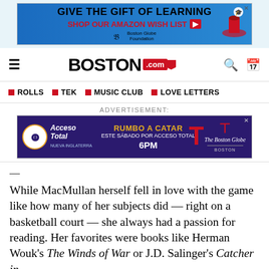[Figure (screenshot): Top advertisement banner: GIVE THE GIFT OF LEARNING / SHOP OUR AMAZON WISH LIST with Boston Globe Foundation logo]
BOSTON.com — navigation bar with hamburger menu, Boston.com logo, search and calendar icons
ROLLS | TEK | MUSIC CLUB | LOVE LETTERS
ADVERTISEMENT:
[Figure (screenshot): Advertisement: Acceso Total RUMBO A CATAR ESTE SÁBADO POR ACCESO TOTAL 6PM — with Telemundo and The Boston Globe logos]
—
While MacMullan herself fell in love with the game like how many of her subjects did — right on a basketball court — she always had a passion for reading. Her favorites were books like Herman Wouk's The Winds of War or J.D. Salinger's Catcher in